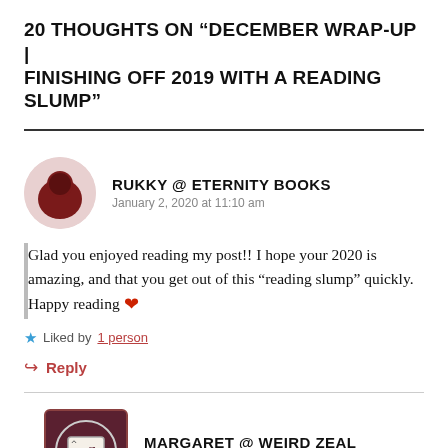20 THOUGHTS ON “DECEMBER WRAP-UP | FINISHING OFF 2019 WITH A READING SLUMP”
RUKKY @ ETERNITY BOOKS
January 2, 2020 at 11:10 am
Glad you enjoyed reading my post!! I hope your 2020 is amazing, and that you get out of this “reading slump” quickly. Happy reading ❤
Liked by 1 person
Reply
MARGARET @ WEIRD ZEAL
January 5, 2020 at 2:21 pm